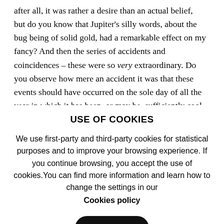after all, it was rather a desire than an actual belief, but do you know that Jupiter's silly words, about the bug being of solid gold, had a remarkable effect on my fancy? And then the series of accidents and coincidences – these were so very extraordinary. Do you observe how mere an accident it was that these events should have occurred on the sole day of all the year in which it has been, or may be, sufficiently cool for fire, and that without the fire, or without the intervention of the dog at the precise moment in
USE OF COOKIES
We use first-party and third-party cookies for statistical purposes and to improve your browsing experience. If you continue browsing, you accept the use of cookies.You can find more information and learn how to change the settings in our Cookies policy
Close